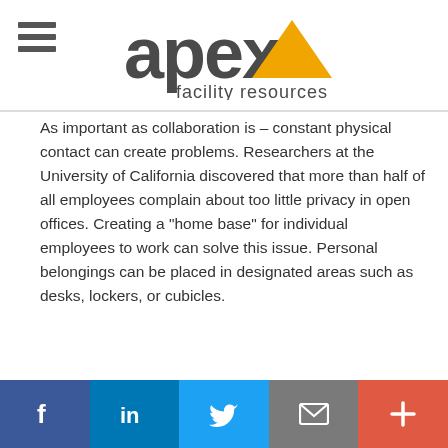apex facility resources
As important as collaboration is – constant physical contact can create problems. Researchers at the University of California discovered that more than half of all employees complain about too little privacy in open offices. Creating a "home base" for individual employees to work can solve this issue. Personal belongings can be placed in designated areas such as desks, lockers, or cubicles.
For more information, check out our article
Facebook LinkedIn Twitter Email +